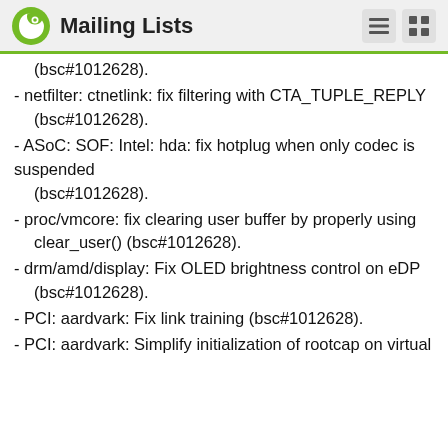Mailing Lists
(bsc#1012628).
- netfilter: ctnetlink: fix filtering with CTA_TUPLE_REPLY (bsc#1012628).
- ASoC: SOF: Intel: hda: fix hotplug when only codec is suspended (bsc#1012628).
- proc/vmcore: fix clearing user buffer by properly using clear_user() (bsc#1012628).
- drm/amd/display: Fix OLED brightness control on eDP (bsc#1012628).
- PCI: aardvark: Fix link training (bsc#1012628).
- PCI: aardvark: Simplify initialization of rootcap on virtual